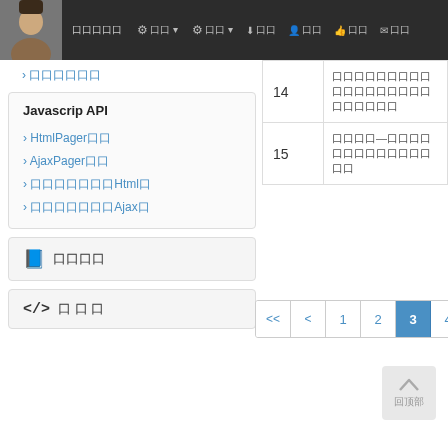Navigation bar with avatar, settings menus, download, user, like, and message icons
› 口口口口口口
Javascrip API
› HtmlPager口口
› AjaxPager口口
› 口口口口口口口Html口
› 口口口口口口口Ajax口
📘 口口口口
</> 口 口 口
|  |  |
| --- | --- |
| 14 | 口口口口口口口口口口口口口口口口口口口口 |
| 15 | 口口口口—口口口口口口口口口口口口口口口 |
[Figure (other): Pagination control showing <<, <, 1, 2, 3 (active/highlighted in blue), 4]
回顶部 (Back to top button)